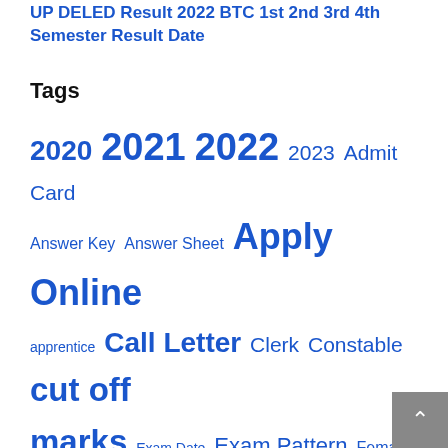UP DELED Result 2022 BTC 1st 2nd 3rd 4th Semester Result Date
Tags
2020 2021 2022 2023 Admit Card Answer Key Answer Sheet Apply Online apprentice Call Letter Clerk Constable cut off marks Exam Date Exam Pattern Female JE Junior Engineer Mains Exam Male merit list Notification objection form Online Application Online Application Form Online Exam Pre Exam Railway Result RRB selection process SSC Staff Nurse Stenographer Sub Inspector Syllabus UP UPP